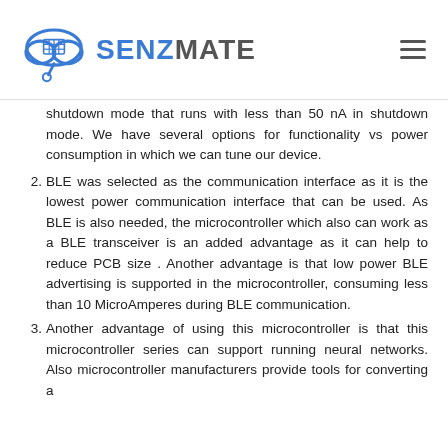SENZMATE
shutdown mode that runs with less than 50 nA in shutdown mode. We have several options for functionality vs power consumption in which we can tune our device.
BLE was selected as the communication interface as it is the lowest power communication interface that can be used. As BLE is also needed, the microcontroller which also can work as a BLE transceiver is an added advantage as it can help to reduce PCB size . Another advantage is that low power BLE advertising is supported in the microcontroller, consuming less than 10 MicroAmperes during BLE communication.
Another advantage of using this microcontroller is that this microcontroller series can support running neural networks. Also microcontroller manufacturers provide tools for converting a